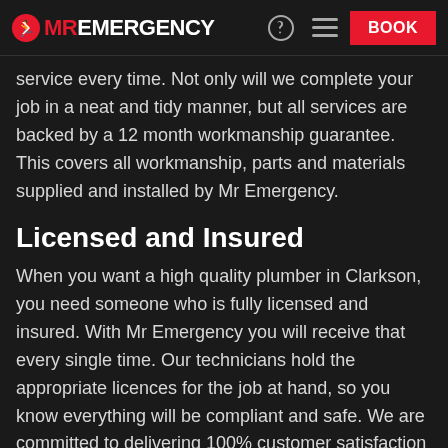MR EMERGENCY | BOOK
service every time. Not only will we complete your job in a neat and tidy manner, but all services are backed by a 12 month workmanship guarantee. This covers all workmanship, parts and materials supplied and installed by Mr Emergency.
Licensed and Insured
When you want a high quality plumber in Clarkson, you need someone who is fully licensed and insured. With Mr Emergency you will receive that every single time. Our technicians hold the appropriate licences for the job at hand, so you know everything will be compliant and safe. We are committed to delivering 100% customer satisfaction as your qualified plumbing experts.
In Safe Hands